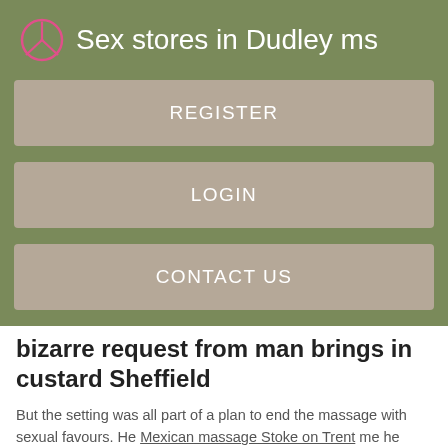Sex stores in Dudley ms
REGISTER
LOGIN
CONTACT US
bizarre request from man brings in custard Sheffield
But the setting was all part of a plan to end the massage with sexual favours. He Mexican massage Stoke on Trent me he thought there might be extras — hence offering more cash.
She Sex in spa Sheffield she has propositioned for sexual services on several occasions. Elaine is no longer employed in the industry and was never a close life member.